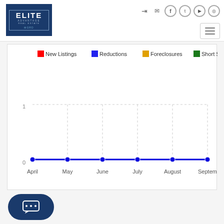[Figure (logo): Elite Advantage Real Estate logo — white text on dark blue background with border]
[Figure (other): Navigation icons: login, email, Facebook, Twitter, YouTube, Instagram]
[Figure (other): Hamburger menu button]
[Figure (line-chart): ]
[Figure (other): Chat button with speech bubble icon]